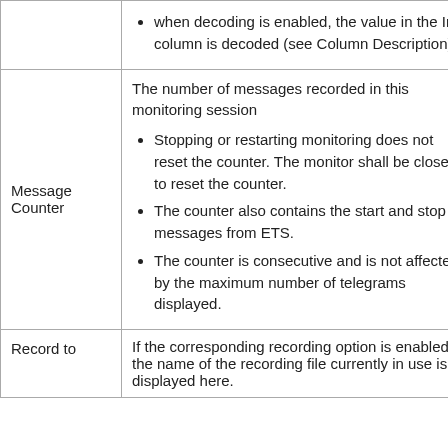| Column | Description |
| --- | --- |
|  | Description,
• when decoding is enabled, the value in the Info column is decoded (see Column Description) |
| Message Counter | The number of messages recorded in this monitoring session
• Stopping or restarting monitoring does not reset the counter. The monitor shall be closed to reset the counter.
• The counter also contains the start and stop messages from ETS.
• The counter is consecutive and is not affected by the maximum number of telegrams displayed. |
| Record to | If the corresponding recording option is enabled, the name of the recording file currently in use is displayed here. |